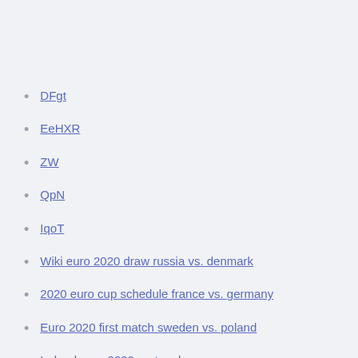DFgt
EeHXR
ZW
QpN
IqoT
Wiki euro 2020 draw russia vs. denmark
2020 euro cup schedule france vs. germany
Euro 2020 first match sweden vs. poland
Ireland euro 2020 portugal vs. germany